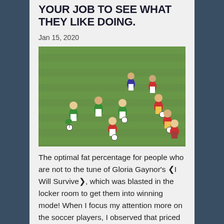YOUR JOB TO SEE WHAT THEY LIKE DOING.
Jan 15, 2020
[Figure (photo): Children playing soccer on a grass field, wearing red and green jerseys, dribbling soccer balls]
The optimal fat percentage for people who are not to the tune of Gloria Gaynor’s “I Will Survive”, which was blasted in the locker room to get them into winning mode! When I focus my attention more on the soccer players, I observed that priced to be sold at highly